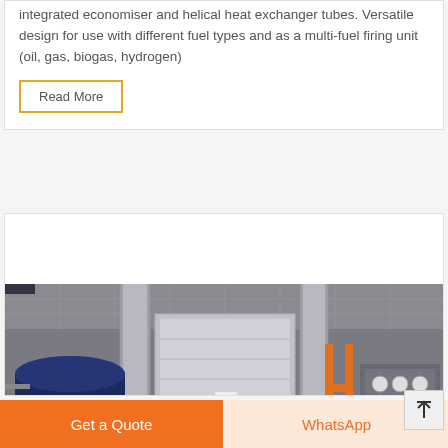integrated economiser and helical heat exchanger tubes. Versatile design for use with different fuel types and as a multi-fuel firing unit (oil, gas, biogas, hydrogen)
Read More
[Figure (photo): Industrial boiler room with large cylindrical boilers, insulated pipes, orange scaffolding, pressure gauges, and control equipment in a factory setting.]
Get a Quote
WhatsApp